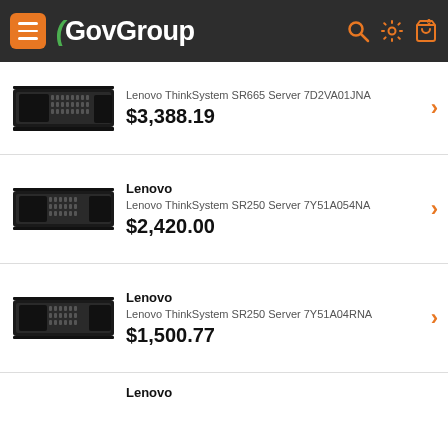GovGroup
Lenovo ThinkSystem SR665 Server 7D2VA01JNA
$3,388.19
Lenovo ThinkSystem SR250 Server 7Y51A054NA
$2,420.00
Lenovo ThinkSystem SR250 Server 7Y51A04RNA
$1,500.77